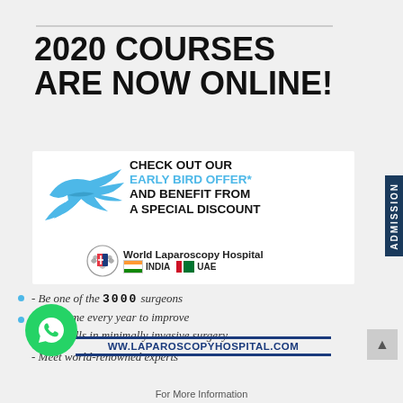2020 COURSES ARE NOW ONLINE!
[Figure (infographic): World Laparoscopy Hospital promotional infographic with early bird offer, blue bird graphic, hospital logo, India and UAE flags]
- Be one of the 3000 surgeons who come every year to improve their skills in minimally invasive surgery
- Meet world-renowned experts
WWW.LAPAROSCOPYHOSPITAL.COM
For More Information